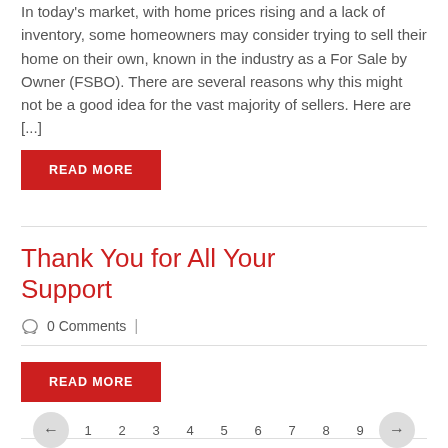In today's market, with home prices rising and a lack of inventory, some homeowners may consider trying to sell their home on their own, known in the industry as a For Sale by Owner (FSBO). There are several reasons why this might not be a good idea for the vast majority of sellers. Here are [...]
READ MORE
Thank You for All Your Support
0 Comments  |
READ MORE
1  2  3  4  5  6  7  8  9